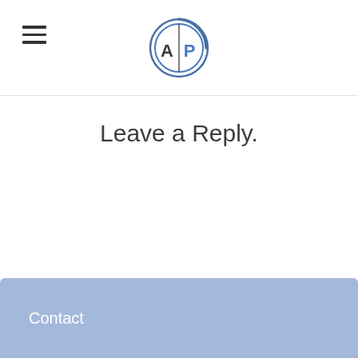[Figure (logo): Circular logo with the letters AP inside, styled with blue and dark gray colors, with a swoosh arc around the circle.]
Leave a Reply.
Contact